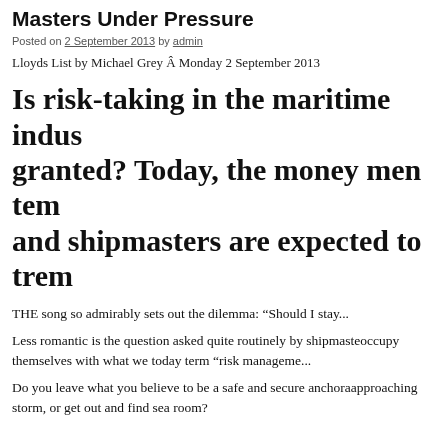Masters Under Pressure
Posted on 2 September 2013 by admin
Lloyds List by Michael Grey Â Monday 2 September 2013
Is risk-taking in the maritime indus... granted? Today, the money men tem... and shipmasters are expected to trem...
THE song so admirably sets out the dilemma: â€œShould I stay...
Less romantic is the question asked quite routinely by shipmasteoccupy themselves with what we today term â€œrisk manageme...
Do you leave what you believe to be a safe and secure anchoraapproaching storm, or get out and find sea room?